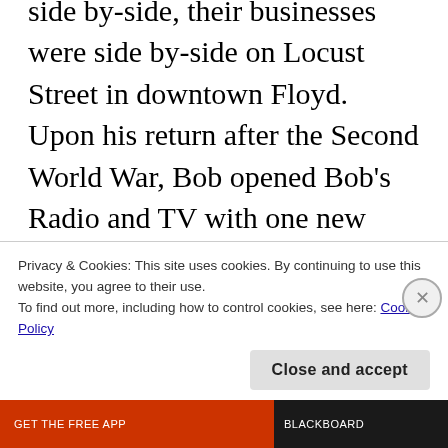side by side, their businesses were side by-side on Locust Street in downtown Floyd. Upon his return after the Second World War, Bob opened Bob's Radio and TV with one new television to sell. His training and service in the Navy while stationed in Norfolk prepared him well for his new venture. After enlisting, Bob became an electrician who repaired and
Privacy & Cookies: This site uses cookies. By continuing to use this website, you agree to their use.
To find out more, including how to control cookies, see here: Cookie Policy
Close and accept